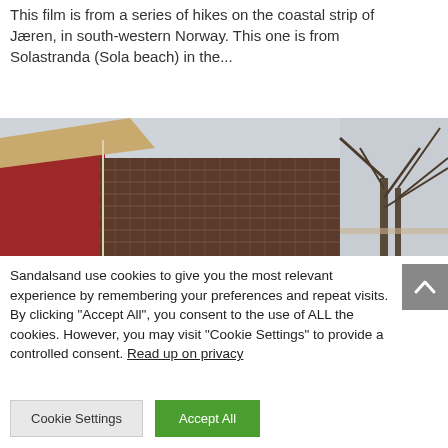This film is from a series of hikes on the coastal strip of Jæren, in south-western Norway. This one is from Solastranda (Sola beach) in the...
[Figure (photo): Low-angle view of a red-sided wooden building with a pointed roof and brown roof tiles, with bare trees and overcast sky in the background]
Sandalsand use cookies to give you the most relevant experience by remembering your preferences and repeat visits. By clicking "Accept All", you consent to the use of ALL the cookies. However, you may visit "Cookie Settings" to provide a controlled consent. Read up on privacy
Cookie Settings
Accept All